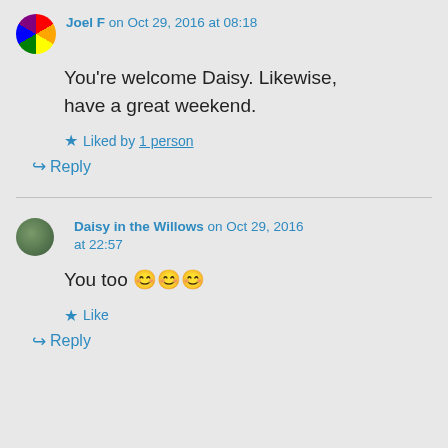Joel F on Oct 29, 2016 at 08:18
You're welcome Daisy. Likewise, have a great weekend.
★ Liked by 1 person
↪ Reply
Daisy in the Willows on Oct 29, 2016 at 22:57
You too 😊😊😊
★ Like
↪ Reply